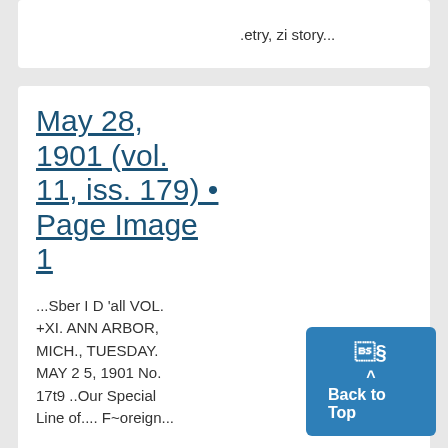.etry, zi story...
May 28, 1901 (vol. 11, iss. 179) • Page Image 1
...Sber I D 'all VOL. +XI. ANN ARBOR, MICH., TUESDAY. MAY 2 5, 1901 No. 17t9 ..Our Special Line of.... F~oreign...
May 28,